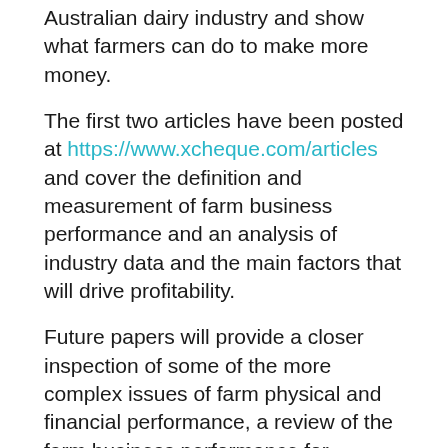Australian dairy industry and show what farmers can do to make more money.
The first two articles have been posted at https://www.xcheque.com/articles and cover the definition and measurement of farm business performance and an analysis of industry data and the main factors that will drive profitability.
Future papers will provide a closer inspection of some of the more complex issues of farm physical and financial performance, a review of the farm business performance for Australian dairy regions and a summary of findings and presentation of a pathway towards farm self-analysis and improvement.
Dr Hauser described the articles as a technical analysis and comprehensive review of dairy industry...